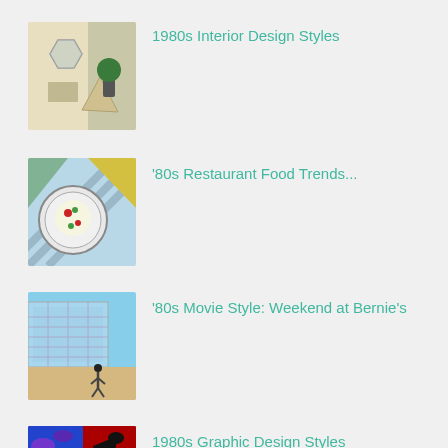1980s Interior Design Styles
[Figure (photo): 3D rendered geometric shapes including a hexagonal mirror and a pyramid on a white surface with a plant]
'80s Restaurant Food Trends...
[Figure (photo): A decorative plate with food on a striped geometric background with diagonal yellow and green elements]
'80s Movie Style: Weekend at Bernie's
[Figure (photo): A glass building exterior with a person walking on a beach boardwalk]
1980s Graphic Design Styles
[Figure (photo): Colorful abstract graphic design with animal print patterns in blue/purple and red/black shapes]